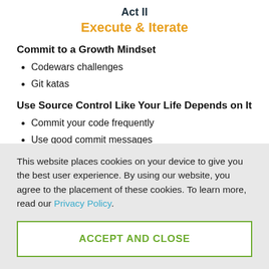Act II
Execute & Iterate
Commit to a Growth Mindset
Codewars challenges
Git katas
Use Source Control Like Your Life Depends on It
Commit your code frequently
Use good commit messages
Workfl…
This website places cookies on your device to give you the best user experience. By using our website, you agree to the placement of these cookies. To learn more, read our Privacy Policy.
ACCEPT AND CLOSE